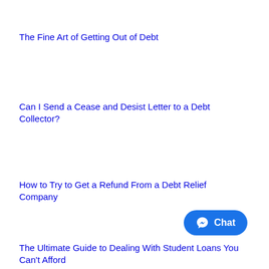The Fine Art of Getting Out of Debt
Can I Send a Cease and Desist Letter to a Debt Collector?
How to Try to Get a Refund From a Debt Relief Company
The Ultimate Guide to Dealing With Student Loans You Can't Afford